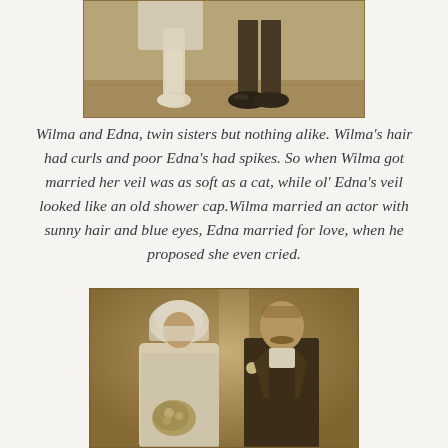[Figure (photo): Partial sepia-toned wedding photo showing the lower bodies of a bride and groom — bride in white dress and white shoes, groom in dark trousers and black dress shoes, standing on a wooden floor.]
Wilma and Edna, twin sisters but nothing alike. Wilma's hair had curls and poor Edna's had spikes. So when Wilma got married her veil was as soft as a cat, while ol' Edna's veil looked like an old shower cap.Wilma married an actor with sunny hair and blue eyes, Edna married for love, when he proposed she even cried.
[Figure (photo): Sepia-toned formal wedding portrait of a bride and groom from the early 20th century. The bride wears a white veil and dress and holds a bouquet; the groom has a mustache and wears a dark suit with a boutonniere.]